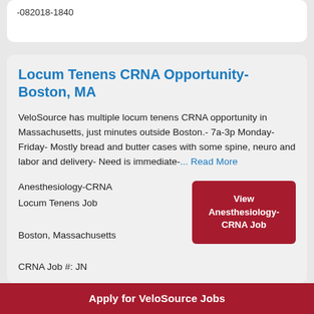-082018-1840
Locum Tenens CRNA Opportunity- Boston, MA
VeloSource has multiple locum tenens CRNA opportunity in Massachusetts, just minutes outside Boston.- 7a-3p Monday-Friday- Mostly bread and butter cases with some spine, neuro and labor and delivery- Need is immediate-... Read More
Anesthesiology-CRNA Locum Tenens Job
Boston, Massachusetts
CRNA Job #: JN
View Anesthesiology-CRNA Job
Apply for VeloSource Jobs